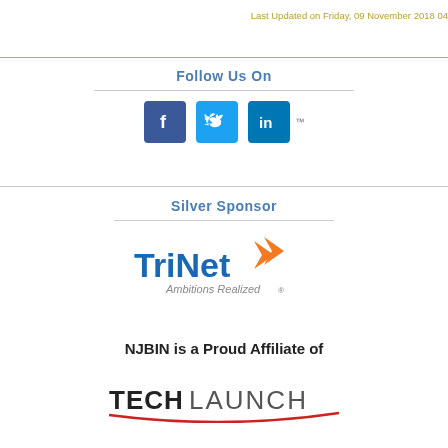Last Updated on Friday, 09 November 2018 04
Follow Us On
[Figure (logo): Social media icons: Facebook (blue square with white F), Twitter (blue bird), LinkedIn (blue square with white 'in')]
Silver Sponsor
[Figure (logo): TriNet logo with orange arrow/bird symbol and blue text 'TriNet', tagline 'Ambitions Realized']
NJBIN is a Proud Affiliate of
[Figure (logo): TechLaunch logo with bold 'TECH' in dark and 'LAUNCH' in lighter text, with a red swoosh underline]